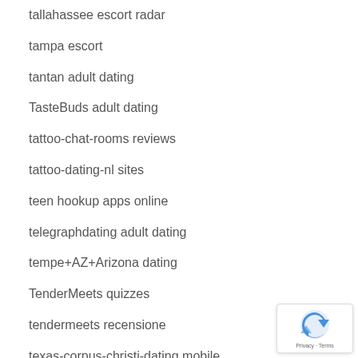tallahassee escort radar
tampa escort
tantan adult dating
TasteBuds adult dating
tattoo-chat-rooms reviews
tattoo-dating-nl sites
teen hookup apps online
telegraphdating adult dating
tempe+AZ+Arizona dating
TenderMeets quizzes
tendermeets recensione
texas-corpus-christi-dating mobile